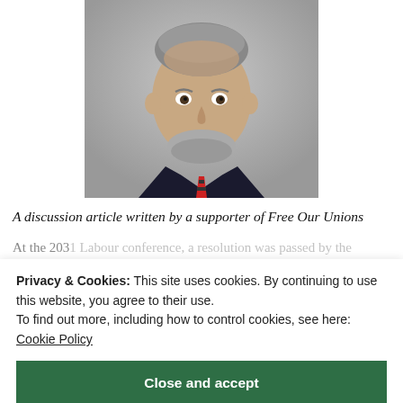[Figure (photo): Portrait photo of a middle-aged man with grey hair and beard, wearing a dark suit jacket, white shirt, and red and dark striped tie, against a grey background.]
A discussion article written by a supporter of Free Our Unions
At the 2031 Labour conference, a resolution was passed by the Party's National Executive Committee and published by shadow secretary of state Barry Gardiner. Gardiner, a long-serving MP, then resigned over the leadership's opposition to a £15ph minimum wage. He then ran for leader of the Labour Party against Jeremy Corbyn.
Privacy & Cookies: This site uses cookies. By continuing to use this website, you agree to their use. To find out more, including how to control cookies, see here: Cookie Policy
Close and accept